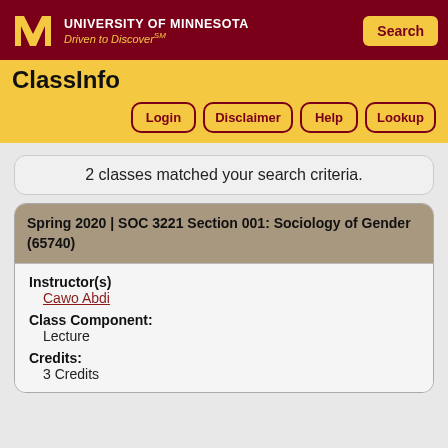University of Minnesota – Driven to Discover℠
ClassInfo
2 classes matched your search criteria.
Spring 2020 | SOC 3221 Section 001: Sociology of Gender (65740)
Instructor(s)
Cawo Abdi
Class Component:
Lecture
Credits:
3 Credits